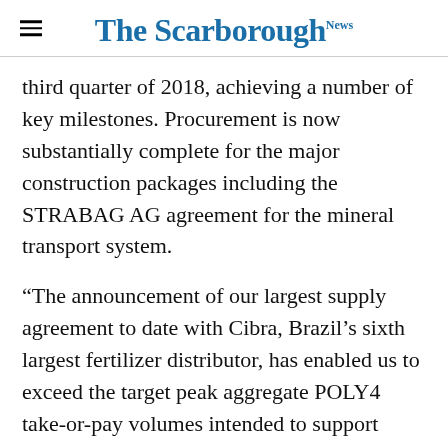The Scarborough News
third quarter of 2018, achieving a number of key milestones. Procurement is now substantially complete for the major construction packages including the STRABAG AG agreement for the mineral transport system.
“The announcement of our largest supply agreement to date with Cibra, Brazil’s sixth largest fertilizer distributor, has enabled us to exceed the target peak aggregate POLY4 take-or-pay volumes intended to support stage 2 financing and further agreements are expected